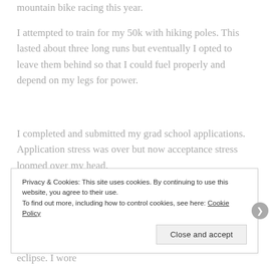mountain bike racing this year.
I attempted to train for my 50k with hiking poles.  This lasted about three long runs but eventually I opted to leave them behind so that I could fuel properly and depend on my legs for power.
I completed and submitted my grad school applications. Application stress was over but now acceptance stress loomed over my head.
The country went crazy about the eclipse.  I wore homemade eclipse glasses that my dad made so I could
Privacy & Cookies: This site uses cookies. By continuing to use this website, you agree to their use.
To find out more, including how to control cookies, see here: Cookie Policy
Close and accept